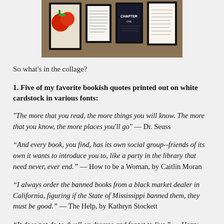[Figure (photo): A photograph showing four framed prints/pictures hanging on a wall, including what appears to be a colorful fruit illustration and several text-based quote prints in black frames.]
So what's in the collage?
1. Five of my favorite bookish quotes printed out on white cardstock in various fonts:
"The more that you read, the more things you will know. The more that you know, the more places you'll go" — Dr. Seuss
“And every book, you find, has its own social group--friends of its own it wants to introduce you to, like a party in the library that need never, ever end.” — How to be a Woman, by Caitlin Moran
“I always order the banned books from a black market dealer in California, figuring if the State of Mississippi banned them, they must be good.” — The Help, by Kathryn Stockett
“It does not do to dwell on dreams and forget to live.” — Harry